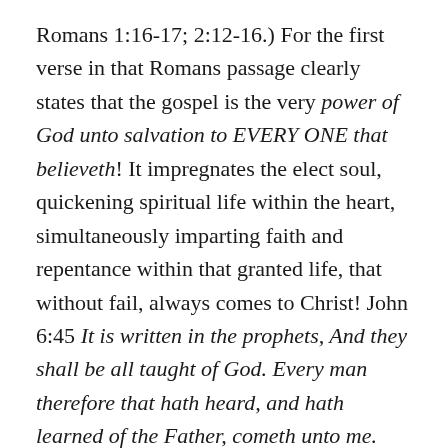Romans 1:16-17; 2:12-16.) For the first verse in that Romans passage clearly states that the gospel is the very power of God unto salvation to EVERY ONE that believeth! It impregnates the elect soul, quickening spiritual life within the heart, simultaneously imparting faith and repentance within that granted life, that without fail, always comes to Christ! John 6:45 It is written in the prophets, And they shall be all taught of God. Every man therefore that hath heard, and hath learned of the Father, cometh unto me.
Therefore we can clearly see that on this very first encounter with the entire population of this pagan city, obedience was had to the command of the Lord to preach the gospel to every creature! (Mark